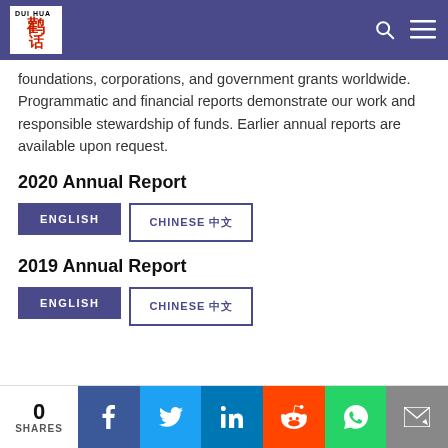Dui Hua
foundations, corporations, and government grants worldwide. Programmatic and financial reports demonstrate our work and responsible stewardship of funds. Earlier annual reports are available upon request.
2020 Annual Report
ENGLISH
CHINESE 中文
2019 Annual Report
ENGLISH
CHINESE 中文
0 SHARES